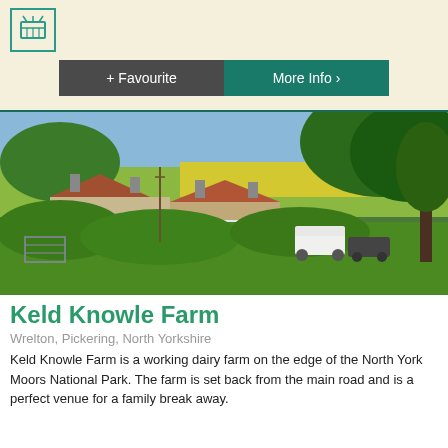[Figure (logo): Teal basket/shopping icon in a teal border square]
[Figure (other): Two buttons side by side: '+ Favourite' on dark grey background and 'More Info >' on teal background]
[Figure (photo): Aerial countryside photo of Keld Knowle Farm showing a stone farmhouse with red tiled roofs, green fields, trees, a white caravan, and a car]
Keld Knowle Farm
Wrelton, Pickering, North Yorkshire
Keld Knowle Farm is a working dairy farm on the edge of the North York Moors National Park. The farm is set back from the main road and is a perfect venue for a family break away.